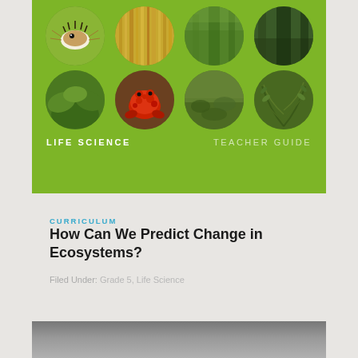[Figure (illustration): Green banner showing Life Science Teacher Guide cover with 8 circular nature photos arranged in 2 rows: lionfish, yellow reeds, green forest, dark forest, green plant, red creature, mossy ground, fern-like plant]
CURRICULUM
How Can We Predict Change in Ecosystems?
Filed Under: Grade 5, Life Science
[Figure (other): Gray gradient banner at the bottom of the page]